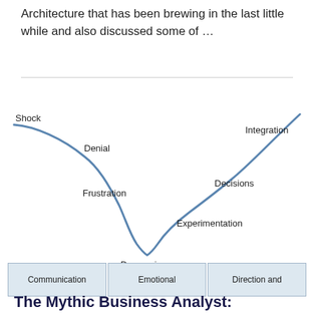Architecture that has been brewing in the last little while and also discussed some of …
[Figure (continuous-plot): Change curve diagram showing emotional stages: Shock, Denial, Frustration, Depression (bottom), Experimentation, Decisions, Integration. A U-shaped curve plotted with labels at each stage point. Below the curve are three labeled boxes: Communication, Emotional, Direction and.]
The Mythic Business Analyst: